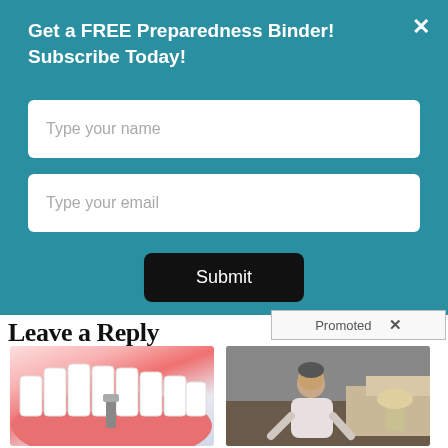Get a FREE Preparedness Binder! Subscribe Today!
Type your name
Type your email
Submit
Leave a Reply
Promoted
[Figure (photo): Dental implant illustration showing teeth and gum with implant]
How To Qualify For Government Dental Implant Grants
🔥 7,998
[Figure (photo): Person sitting on bed, head bowed, dementia illustration]
How Your Body Warns You That Dementia Is Forming
🔥 60,353